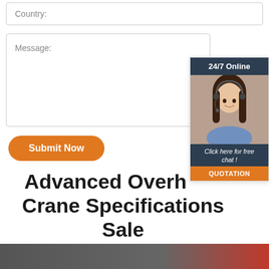Country:
Message:
Submit Now
Advanced Overhead Crane Specifications Sale Netherlands
[Figure (photo): 24/7 online customer support chat widget showing a woman with headset, with 'Click here for free chat!' text and a QUOTATION button]
[Figure (photo): Bottom strip showing partial image of overhead crane or industrial equipment]